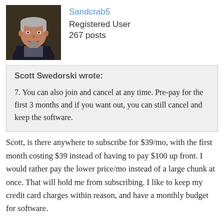[Figure (photo): Profile photo of a middle-aged man with grey hair, smiling, wearing a dark jacket.]
Sandcrab5
Registered User
267 posts
Scott Swedorski wrote:
7. You can also join and cancel at any time. Pre-pay for the first 3 months and if you want out, you can still cancel and keep the software.
Scott, is there anywhere to subscribe for $39/mo, with the first month costing $39 instead of having to pay $100 up front. I would rather pay the lower price/mo instead of a large chunk at once. That will hold me from subscribing. I like to keep my credit card charges within reason, and have a monthly budget for software.